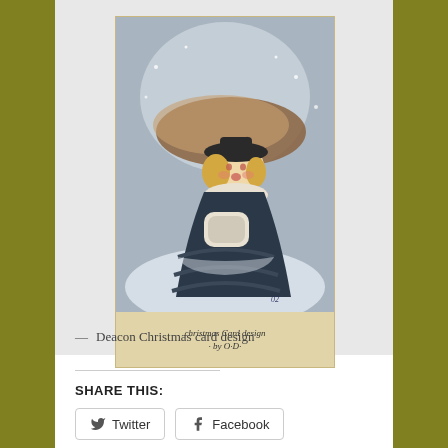[Figure (illustration): Vintage Christmas card design showing a young girl with blonde hair and a dark hat holding a brown umbrella and a cylindrical muff, wearing a dark ruffled dress with fur trim, standing in a snowy scene. Handwritten text at bottom reads 'Christmas Card design by O.D.']
— Deacon Christmas card design
SHARE THIS:
Twitter   Facebook